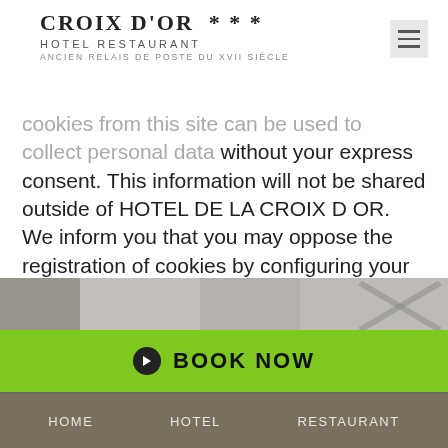CROIX D'OR *** HOTEL RESTAURANT ANCIEN RELAIS DE POSTE DU XVII SIÈCLE
cookies from this site can be used to collect personal data without your express consent. This information will not be shared outside of HOTEL DE LA CROIX D OR. We inform you that you may oppose the registration of cookies by configuring your computer as detailed on the site conditions: www.cnil.fr
[Figure (photo): Partial street/building photo strip]
BOOK NOW
HOME   HOTEL   RESTAURANT